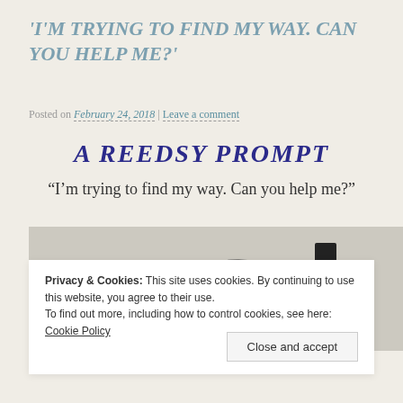‘I’M TRYING TO FIND MY WAY. CAN YOU HELP ME?’
Posted on February 24, 2018 | Leave a comment
A REEDSY PROMPT
“I’m trying to find my way. Can you help me?”
[Figure (illustration): Black and white illustration of a man in a top hat cracking a whip towards a horse head, on a grey background]
Privacy & Cookies: This site uses cookies. By continuing to use this website, you agree to their use.
To find out more, including how to control cookies, see here: Cookie Policy
Close and accept